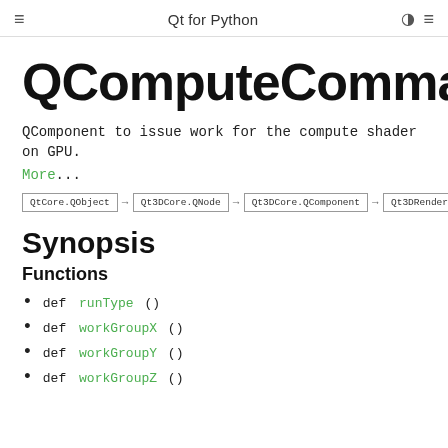Qt for Python
QComputeCommand
QComponent to issue work for the compute shader on GPU.
More...
[Figure (flowchart): Inheritance diagram: QtCore.QObject → Qt3DCore.QNode → Qt3DCore.QComponent → Qt3DRender.QComputeCommand]
Synopsis
Functions
def runType ()
def workGroupX ()
def workGroupY ()
def workGroupZ ()